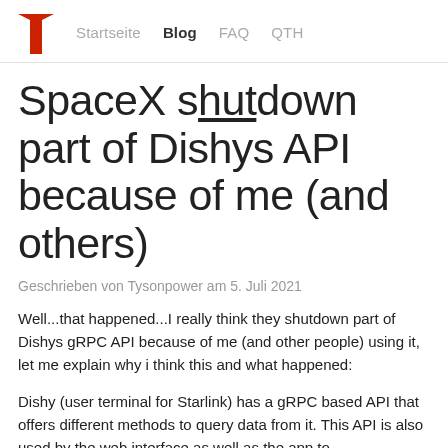Startseite  Blog  FAQ  QTH
SpaceX shutdown part of Dishys API because of me (and others)
Geschrieben von Tysonpower am 5. Juli 2021
Well...that happened...I really think they shutdown part of Dishys gRPC API because of me (and other people) using it, let me explain why i think this and what happened:
Dishy (user terminal for Starlink) has a gRPC based API that offers different methods to query data from it. This API is also used by the web interface as well as the app to